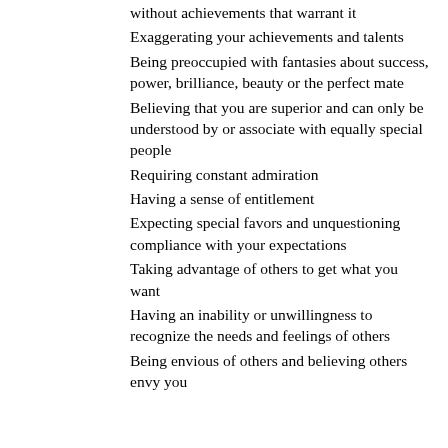without achievements that warrant it
Exaggerating your achievements and talents
Being preoccupied with fantasies about success, power, brilliance, beauty or the perfect mate
Believing that you are superior and can only be understood by or associate with equally special people
Requiring constant admiration
Having a sense of entitlement
Expecting special favors and unquestioning compliance with your expectations
Taking advantage of others to get what you want
Having an inability or unwillingness to recognize the needs and feelings of others
Being envious of others and believing others envy you